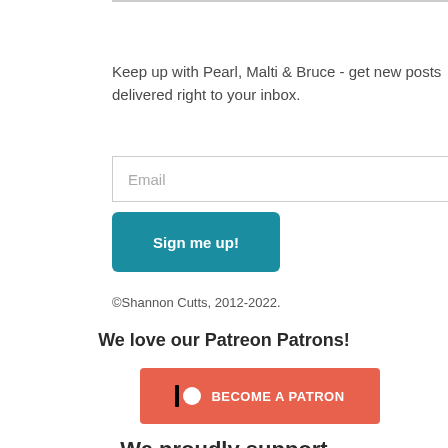Keep up with Pearl, Malti & Bruce - get new posts delivered right to your inbox.
[Figure (other): Email input field with placeholder text 'Email']
[Figure (other): Teal 'Sign me up!' button]
©Shannon Cutts, 2012-2022.
We love our Patreon Patrons!
[Figure (other): Patreon 'BECOME A PATRON' button in coral/orange-red color with Patreon logo icon]
We proudly support